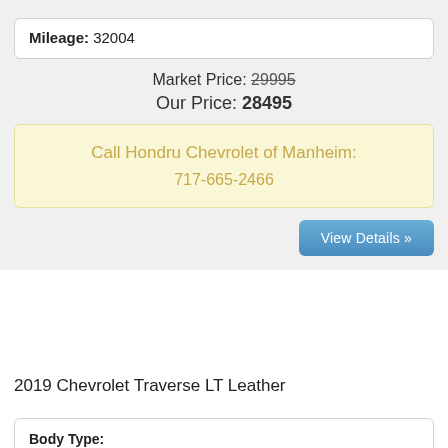Mileage: 32004
Market Price: 29995
Our Price: 28495
Call Hondru Chevrolet of Manheim:
717-665-2466
View Details »
2019 Chevrolet Traverse LT Leather
Body Type: